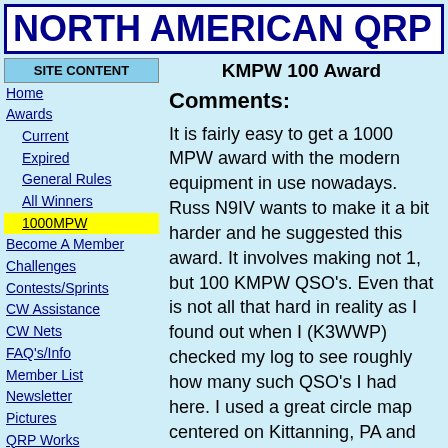NORTH AMERICAN QRP C
KMPW 100 Award
SITE CONTENT
Home
Awards
Current
Expired
General Rules
All Winners
1000MPW
Become A Member
Challenges
Contests/Sprints
CW Assistance
CW Nets
FAQ's/Info
Member List
Newsletter
Pictures
QRP Works
>>> Contact Us <<<
Comments:
It is fairly easy to get a 1000 MPW award with the modern equipment in use nowadays. Russ N9IV wants to make it a bit harder and he suggested this award. It involves making not 1, but 100 KMPW QSO's. Even that is not all that hard in reality as I found out when I (K3WWP) checked my log to see roughly how many such QSO's I had here. I used a great circle map centered on Kittanning, PA and added up all my QSO's from countries that were entirely 5,000 miles or more from my QTH. I didn't count QSO's from countries that were partly inside the 5,000 mile distance nor those countries within 5,000 miles that I worked with less than 5 watts. Going